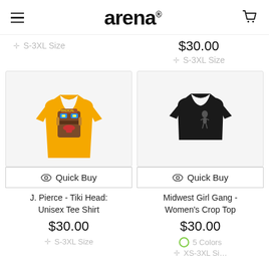arena
$30.00
✛ S-3XL Size
✛ S-3XL Size
[Figure (photo): Yellow unisex tee shirt with colorful tiki head graphic]
Quick Buy
J. Pierce - Tiki Head: Unisex Tee Shirt
$30.00
✛ S-3XL Size
[Figure (photo): Black women's crop top with small graphic on chest]
Quick Buy
Midwest Girl Gang - Women's Crop Top
$30.00
5 Colors
✛ XS-3XL Si...